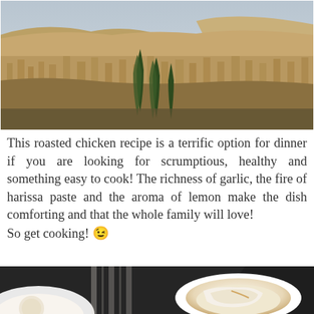[Figure (photo): Aerial panoramic view of a dense Middle Eastern or North African city (likely Fes, Morocco) with tightly packed buildings on hillsides and cypress trees in the foreground, under a hazy sky.]
This roasted chicken recipe is a terrific option for dinner if you are looking for scrumptious, healthy and something easy to cook! The richness of garlic, the fire of harissa paste and the aroma of lemon make the dish comforting and that the whole family will love!
So get cooking! 😉
[Figure (photo): Close-up photo of food in a bowl, partially visible at the bottom of the page, showing what appears to be a white creamy dish or soup with some bread.]